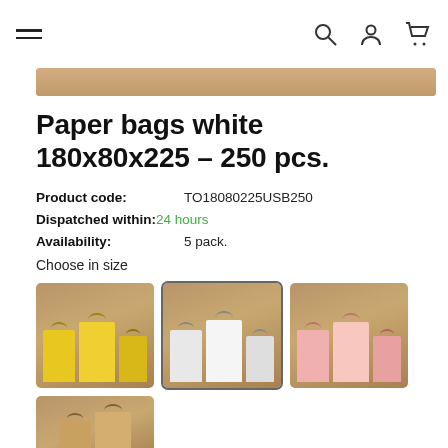Navigation bar with hamburger menu, search, user, and cart icons
[Figure (photo): Kraft/tan colored banner strip at top of product page]
Paper bags white 180x80x225 – 250 pcs.
Product code: TO18080225USB250
Dispatched within: 24 hours
Availability: 5 pack.
Choose in size
[Figure (photo): Yellow paper bags with handles displayed in front of cardboard box background]
[Figure (photo): White paper bags with handles displayed (selected/highlighted with border)]
[Figure (photo): Pink paper bags with handles displayed in front of cardboard box background]
[Figure (photo): Kraft/brown paper bags partially visible at bottom]